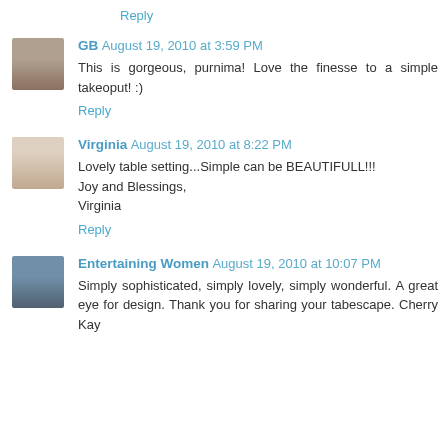Reply
GB August 19, 2010 at 3:59 PM
This is gorgeous, purnima! Love the finesse to a simple takeoput! :)
Reply
Virginia August 19, 2010 at 8:22 PM
Lovely table setting...Simple can be BEAUTIFULL!!!
Joy and Blessings,
Virginia
Reply
Entertaining Women August 19, 2010 at 10:07 PM
Simply sophisticated, simply lovely, simply wonderful. A great eye for design. Thank you for sharing your tabescape. Cherry Kay